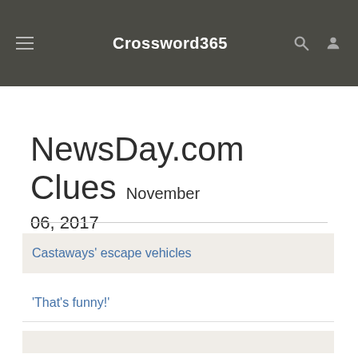Crossword365
NewsDay.com Clues November 06, 2017
Castaways' escape vehicles
'That's funny!'